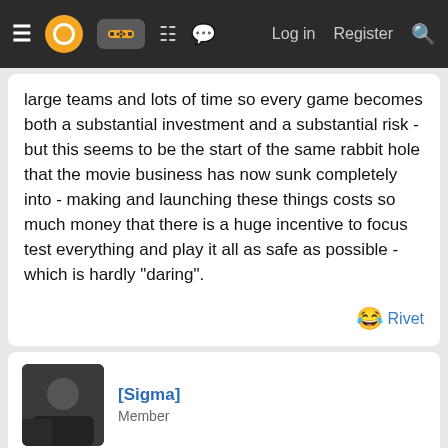Navigation bar with menu, logo, gamepad icon, grid icon, chat icon, Log in, Register, Search
large teams and lots of time so every game becomes both a substantial investment and a substantial risk - but this seems to be the start of the same rabbit hole that the movie business has now sunk completely into - making and launching these things costs so much money that there is a huge incentive to focus test everything and play it all as safe as possible - which is hardly "daring".
😂 Rivet
[Sigma]
Member
Aug 23, 2021
What does the "daring" really mean here. Because I don't get the feeling that the current studio situation is going to be daring to be honest. At least not in the way I want. I'll give you